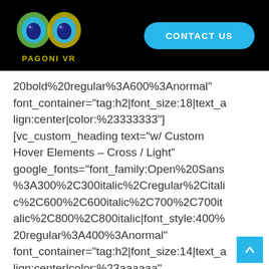PAGONI VR | CONTACT US
20bold%20regular%3A600%3Anormal" font_container="tag:h2|font_size:18|text_align:center|color:%23333333"] [vc_custom_heading text="w/ Custom Hover Elements – Cross / Light" google_fonts="font_family:Open%20Sans%3A300%2C300italic%2Cregular%2Citalic%2C600%2C600italic%2C700%2C700italic%2C800%2C800italic|font_style:400%20regular%3A400%3Anormal" font_container="tag:h2|font_size:14|text_align:center|color:%23aaaaaa" css=".vc_custom_1457961080010{paddin